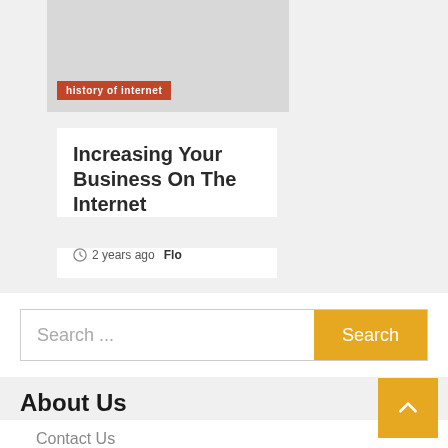[Figure (photo): Gray placeholder image for blog post card]
history of internet
Increasing Your Business On The Internet
2 years ago  Flo
Search ...
About Us
Contact Us